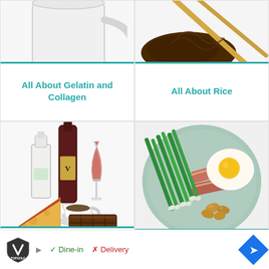[Figure (illustration): White ceramic mug/cup illustration, partially visible at top]
All About Gelatin and Collagen
[Figure (illustration): Chopsticks picking up dark food (noodles or rice) illustration, partially visible]
All About Rice
[Figure (illustration): Food items including milk bottle, wine bottle with label V, wine glass, coffee cup, cheese wedge, and chocolate bar]
All Ab...
[Figure (illustration): Plate with green vegetables (scallions/leeks), bacon strips, fried egg sunny side up, and nuts on a light teal plate]
The Paleo Guide to...
[Figure (logo): TopGolf logo with shield icon]
Dine-in   Delivery